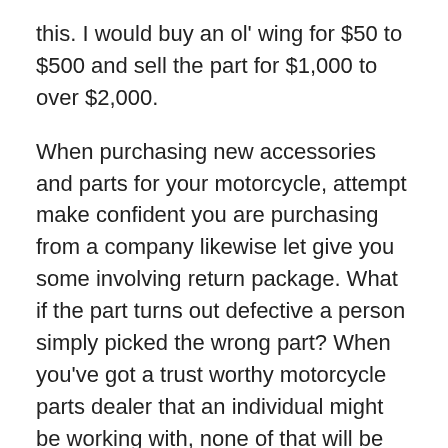this. I would buy an ol' wing for $50 to $500 and sell the part for $1,000 to over $2,000.
When purchasing new accessories and parts for your motorcycle, attempt make confident you are purchasing from a company likewise let give you some involving return package. What if the part turns out defective a person simply picked the wrong part? When you've got a trust worthy motorcycle parts dealer that an individual might be working with, none of that will be much of a mishap.
Most local auto parts stores have an online prescence. You can go there and explore for the part that several. Enter the right information for the model of the car. You will see the parts that can be used. There may be a number of options for comparable thing part. For example, noticed see four starters likewise allows fit your car. One may be re-